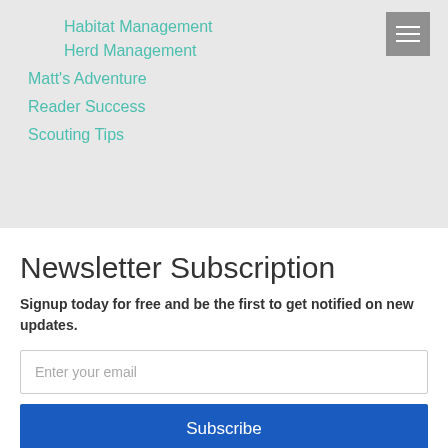Habitat Management
Herd Management
Matt's Adventure
Reader Success
Scouting Tips
Newsletter Subscription
Signup today for free and be the first to get notified on new updates.
Enter your email
Subscribe
powered by MailMunch